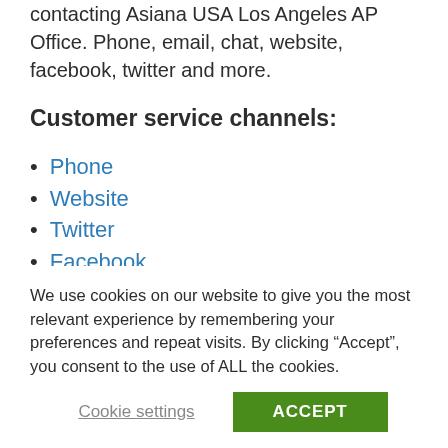contacting Asiana USA Los Angeles AP Office. Phone, email, chat, website, facebook, twitter and more.
Customer service channels:
Phone
Website
Twitter
Facebook
Email
Chat
We use cookies on our website to give you the most relevant experience by remembering your preferences and repeat visits. By clicking “Accept”, you consent to the use of ALL the cookies.